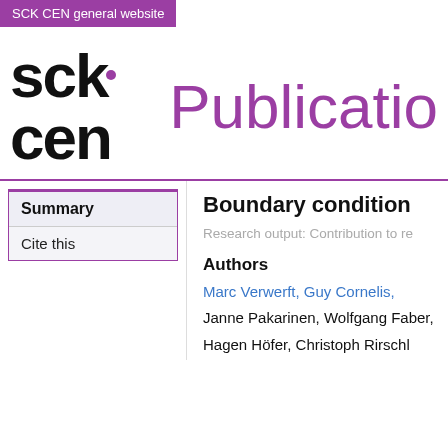SCK CEN general website
[Figure (logo): SCK CEN logo with purple dot and 'Publicatio' text in purple]
Summary
Cite this
Boundary condition
Research output: Contribution to re
Authors
Marc Verwerft, Guy Cornelis,
Janne Pakarinen, Wolfgang Faber,
Hagen Höfer, Christoph Rirschl